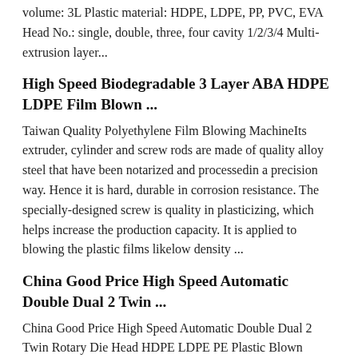volume: 3L Plastic material: HDPE, LDPE, PP, PVC, EVA Head No.: single, double, three, four cavity 1/2/3/4 Multi-extrusion layer...
High Speed Biodegradable 3 Layer ABA HDPE LDPE Film Blown ...
Taiwan Quality Polyethylene Film Blowing MachineIts extruder, cylinder and screw rods are made of quality alloy steel that have been notarized and processedin a precision way. Hence it is hard, durable in corrosion resistance. The specially-designed screw is quality in plasticizing, which helps increase the production capacity. It is applied to blowing the plastic films likelow density ...
China Good Price High Speed Automatic Double Dual 2 Twin ...
China Good Price High Speed Automatic Double Dual 2 Twin Rotary Die Head HDPE LDPE PE Plastic Blown